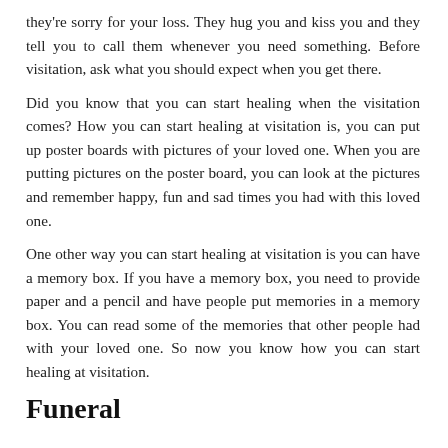they're sorry for your loss.  They hug you and kiss you and they tell you to call them whenever you need something.  Before visitation, ask what you should expect when you get there.
Did you know that you can start healing when the visitation comes?  How you can start healing at visitation is, you can put up poster boards with pictures of your loved one.  When you are putting pictures on the poster board, you can look at the pictures and remember happy, fun and sad times you had with this loved one.
One other way you can start healing at visitation is you can have a memory box.  If you have a memory box, you need to provide paper and a pencil and have people put memories in a memory box.  You can read some of the memories that other people had with your loved one.  So now you know how you can start healing at visitation.
Funeral